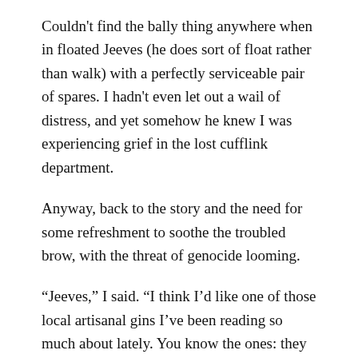Couldn't find the bally thing anywhere when in floated Jeeves (he does sort of float rather than walk) with a perfectly serviceable pair of spares. I hadn't even let out a wail of distress, and yet somehow he knew I was experiencing grief in the lost cufflink department.
Anyway, back to the story and the need for some refreshment to soothe the troubled brow, with the threat of genocide looming.
“Jeeves,” I said. “I think I’d like one of those local artisanal gins I’ve been reading so much about lately. You know the ones: they lob in some fynbos or black pepper and strawberries and charge double the price of normal gin for the bottle”.
Jeeves coughed discreetly.